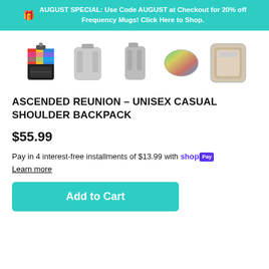AUGUST SPECIAL: Use Code AUGUST at Checkout for 20% off Frequency Mugs! Click Here to Shop.
[Figure (photo): Five product thumbnail images of a unisex casual shoulder backpack shown from different angles: colorful pattern front view, back view, side view, top-down view, and interior view.]
ASCENDED REUNION - UNISEX CASUAL SHOULDER BACKPACK
$55.99
Pay in 4 interest-free installments of $13.99 with shop Pay
Learn more
Add to Cart